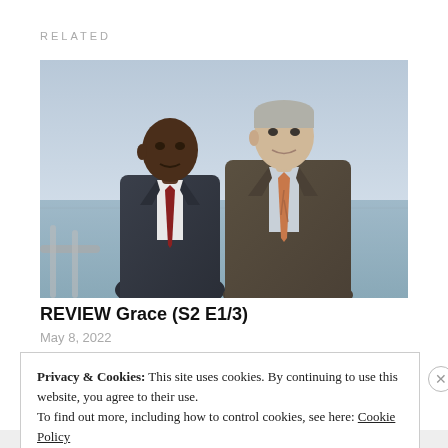RELATED
[Figure (photo): Two men in suits standing outdoors near the sea. The man on the left is Black, wearing a dark suit with a dark red tie. The man on the right is white with grey hair, wearing a brown suit with an orange patterned tie.]
REVIEW Grace (S2 E1/3)
May 8, 2022
Privacy & Cookies: This site uses cookies. By continuing to use this website, you agree to their use. To find out more, including how to control cookies, see here: Cookie Policy
Close and accept